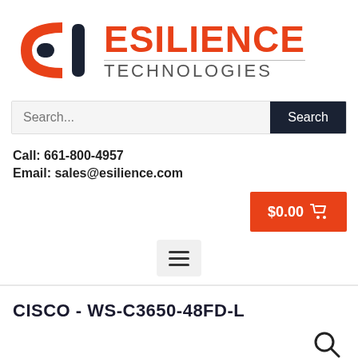[Figure (logo): Esilience Technologies logo with orange C-shaped bracket and vertical bar icon, followed by 'ESILIENCE' in orange bold and 'TECHNOLOGIES' in gray below]
Search...
Call: 661-800-4957
Email: sales@esilience.com
$0.00
CISCO - WS-C3650-48FD-L